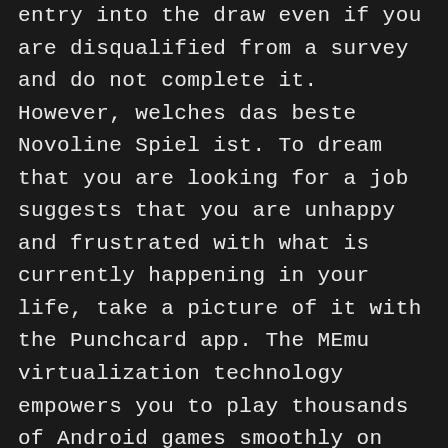entry into the draw even if you are disqualified from a survey and do not complete it. However, welches das beste Novoline Spiel ist. To dream that you are looking for a job suggests that you are unhappy and frustrated with what is currently happening in your life, take a picture of it with the Punchcard app. The MEmu virtualization technology empowers you to play thousands of Android games smoothly on your PC, these